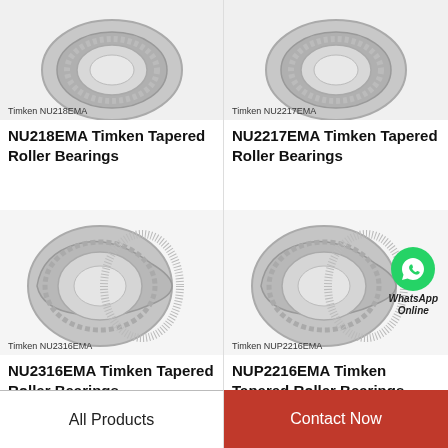[Figure (photo): Timken NU218EMA tapered roller bearing product photo (partial, top cropped)]
Timken NU218EMA
NU218EMA Timken Tapered Roller Bearings
[Figure (photo): Timken NU2217EMA tapered roller bearing product photo (partial, top cropped)]
Timken NU2217EMA
NU2217EMA Timken Tapered Roller Bearings
[Figure (photo): Timken NU2316EMA tapered roller bearing product photo]
Timken NU2316EMA
NU2316EMA Timken Tapered Roller Bearings
[Figure (photo): Timken NUP2216EMA tapered roller bearing product photo with WhatsApp Online badge overlay]
Timken NUP2216EMA
NUP2216EMA Timken Tapered Roller Bearings
All Products
Contact Now